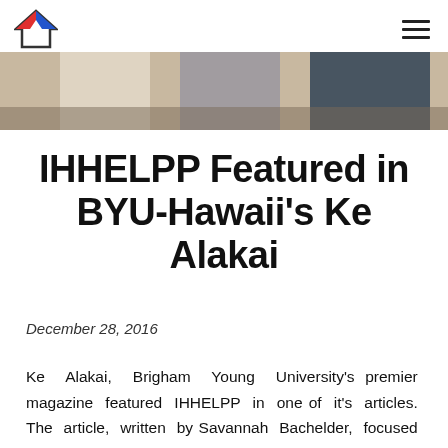IHHELPP logo and navigation menu
[Figure (photo): Cropped photo showing people standing, partial view of torsos and hands]
IHHELPP Featured in BYU-Hawaii's Ke Alakai
December 28, 2016
Ke Alakai, Brigham Young University's premier magazine featured IHHELPP in one of it's articles. The article, written by Savannah Bachelder, focused on IHHELPP's vision, accomplishments, as well... Read